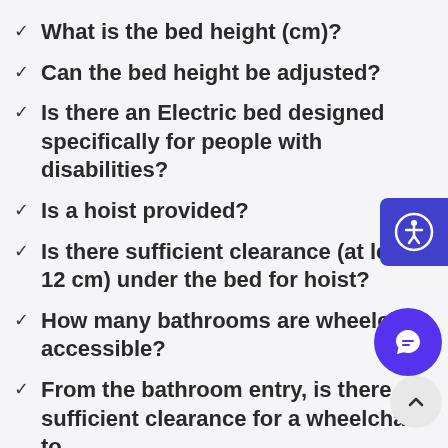What is the bed height (cm)?
Can the bed height be adjusted?
Is there an Electric bed designed specifically for people with disabilities?
Is a hoist provided?
Is there sufficient clearance (at least 12 cm) under the bed for hoist?
How many bathrooms are wheelchair accessible?
From the bathroom entry, is there sufficient clearance for a wheelchair to